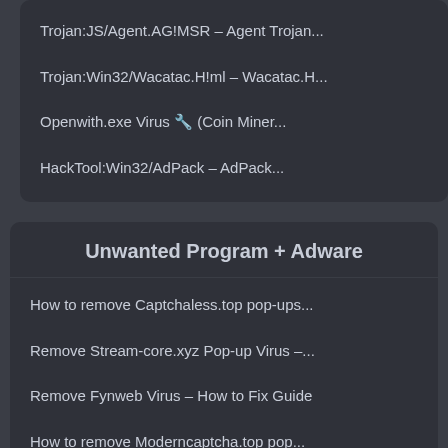Trojan:JS/Agent.AG!MSR – Agent Trojan...
Trojan:Win32/Wacatac.H!ml – Wacatac.H...
Openwith.exe Virus 🔧 (Coin Miner...
HackTool:Win32/AdPack – AdPack...
Unwanted Program + Adware
How to remove Captchaless.top pop-ups...
Remove Stream-core.xyz Pop-up Virus –...
Remove Fynweb Virus – How to Fix Guide
How to remove Moderncaptcha.top pop...